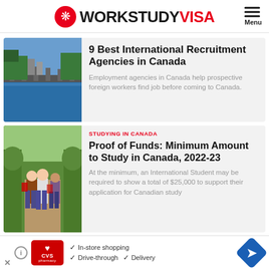WORKSTUDY VISA
[Figure (photo): Aerial view of Canadian city with river and dam]
9 Best International Recruitment Agencies in Canada
Employment agencies in Canada help prospective foreign workers find job before coming to Canada.
[Figure (photo): Group of young international students outdoors with Canadian flag bags]
STUDYING IN CANADA
Proof of Funds: Minimum Amount to Study in Canada, 2022-23
At the minimum, an International Student may be required to show a total of $25,000 to support their application for Canadian study
[Figure (other): CVS Pharmacy advertisement: In-store shopping, Drive-through, Delivery]